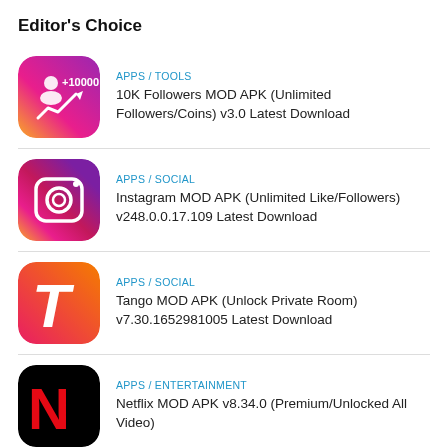Editor's Choice
APPS / TOOLS
10K Followers MOD APK (Unlimited Followers/Coins) v3.0 Latest Download
APPS / SOCIAL
Instagram MOD APK (Unlimited Like/Followers) v248.0.0.17.109 Latest Download
APPS / SOCIAL
Tango MOD APK (Unlock Private Room) v7.30.1652981005 Latest Download
APPS / ENTERTAINMENT
Netflix MOD APK v8.34.0 (Premium/Unlocked All Video)
APPS / SOCIAL